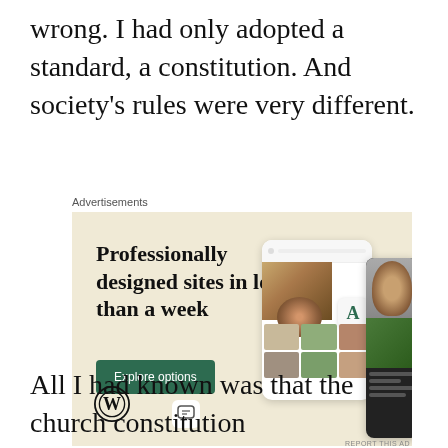wrong. I had only adopted a standard, a constitution. And society's rules were very different.
[Figure (other): WordPress advertisement: 'Professionally designed sites in less than a week' with green Explore options button, WordPress logo, and mockup screenshots of websites showing food imagery. Labeled 'Advertisements' at top and 'REPORT THIS AD' at bottom right.]
All I had known was that the church constitution